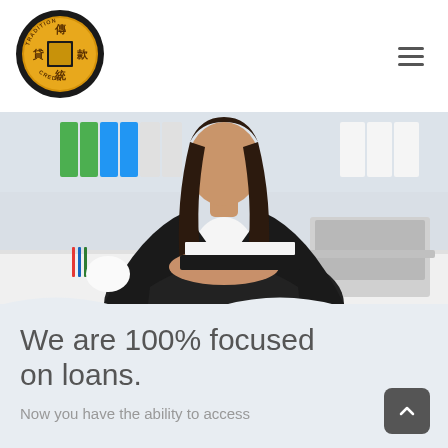[Figure (logo): Tradition Credit circular logo with Chinese characters (傳貸統款) and square center emblem on gold coin background with black border]
[Figure (photo): Professional woman in black blazer and white blouse sitting at a desk with laptop, notebooks, and office supplies in background]
We are 100% focused on loans.
Now you have the ability to access